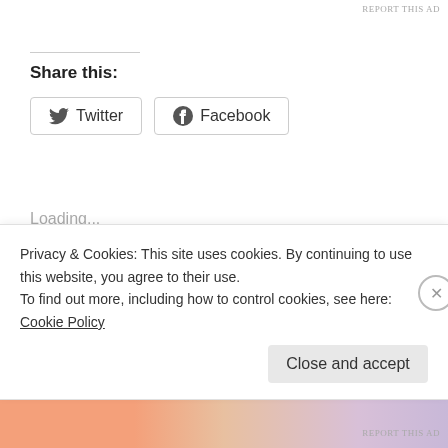REPORT THIS AD
Share this:
[Figure (other): Twitter share button with bird icon]
[Figure (other): Facebook share button with f icon]
Loading...
Related
OPEN THREAD
OPEN THREAD
Privacy & Cookies: This site uses cookies. By continuing to use this website, you agree to their use.
To find out more, including how to control cookies, see here: Cookie Policy
Close and accept
REPORT THIS AD